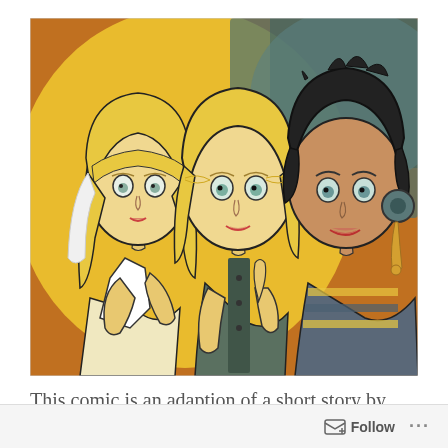[Figure (illustration): Comic book style illustration of three young women with large eyes. Left figure has straight blonde hair with bangs and a white dress/top. Center figure has wavy blonde hair, wearing a dark vest, with finger near mouth. Right figure has short black hair, wearing a striped top, with a large round earring. Background is yellow-orange and teal/green watercolor wash.]
This comic is an adaption of a short story by Neil Gaiman of the same name that was nominated for
Follow ...